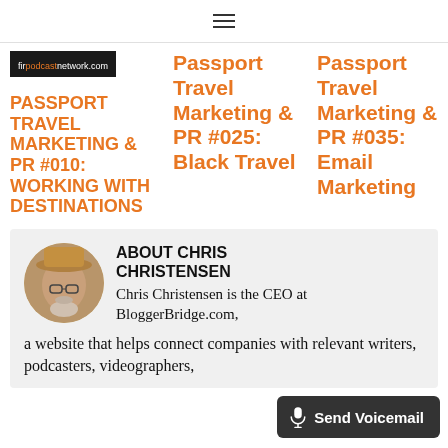≡
[Figure (logo): firpodcastnetwork.com logo on black background]
PASSPORT TRAVEL MARKETING & PR #010: WORKING WITH DESTINATIONS
Passport Travel Marketing & PR #025: Black Travel
Passport Travel Marketing & PR #035: Email Marketing
ABOUT CHRIS CHRISTENSEN
[Figure (photo): Photo of Chris Christensen wearing a hat, circular crop]
Chris Christensen is the CEO at BloggerBridge.com, a website that helps connect companies with relevant writers, podcasters, videographers,